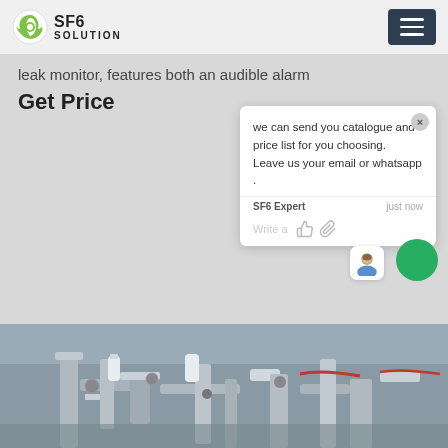SF6 SOLUTION
leak monitor, features both an audible alarm
Get Price
we can send you catalogue and price list for you choosing.
Leave us your email or whatsapp .
SF6 Expert   just now
Write a
[Figure (photo): Industrial SF6 electrical equipment with pipes and fittings, partially visible at bottom of page]